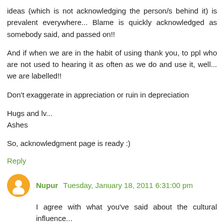ideas (which is not acknowledging the person/s behind it) is prevalent everywhere... Blame is quickly acknowledged as somebody said, and passed on!!
And if when we are in the habit of using thank you, to ppl who are not used to hearing it as often as we do and use it, well... we are labelled!!
Don't exaggerate in appreciation or ruin in depreciation
Hugs and lv...
Ashes
So, acknowledgment page is ready :)
Reply
Nupur Tuesday, January 18, 2011 6:31:00 pm
I agree with what you've said about the cultural influence...
But honestly I make it a point to thank even the unknown